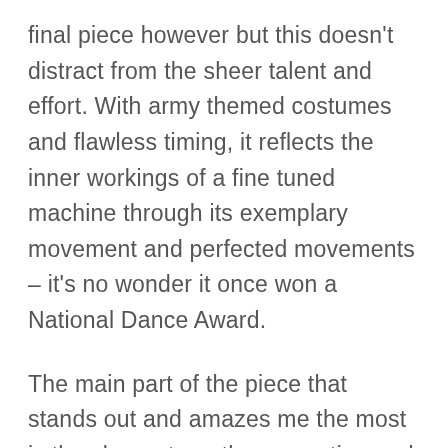final piece however but this doesn't distract from the sheer talent and effort. With army themed costumes and flawless timing, it reflects the inner workings of a fine tuned machine through its exemplary movement and perfected movements – it's no wonder it once won a National Dance Award.
The main part of the piece that stands out and amazes me the most is the sheer strength, connection and trust the dancers have with eachother. Throwing their body weight between each other,